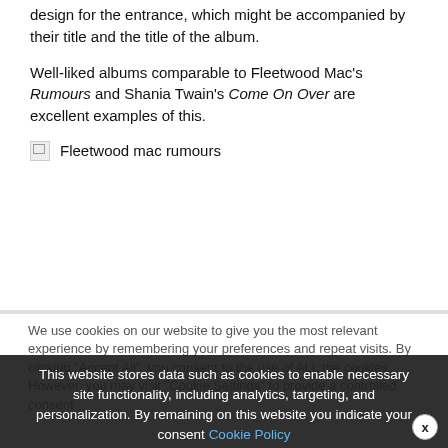design for the entrance, which might be accompanied by their title and the title of the album.
Well-liked albums comparable to Fleetwood Mac's Rumours and Shania Twain's Come On Over are excellent examples of this.
[Figure (photo): Broken image placeholder with alt text 'Fleetwood mac rumours']
We use cookies on our website to give you the most relevant experience by remembering your preferences and repeat visits. By clicking "Accept All", you consent to the use of ALL the cookies. However, you may visit "Cookie Settings" to provide a controlled consent
This website stores data such as cookies to enable necessary site functionality, including analytics, targeting, and personalization. By remaining on this website you indicate your consent Cookie Policy